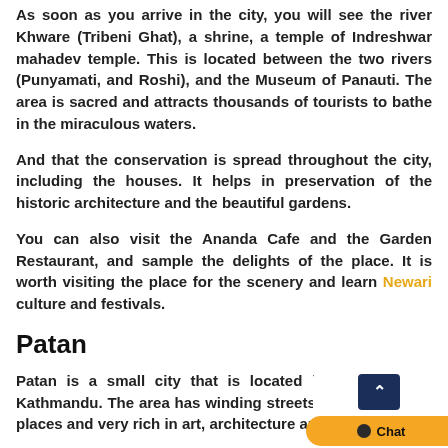As soon as you arrive in the city, you will see the river Khware (Tribeni Ghat), a shrine, a temple of Indreshwar mahadev temple. This is located between the two rivers (Punyamati, and Roshi), and the Museum of Panauti. The area is sacred and attracts thousands of tourists to bathe in the miraculous waters.
And that the conservation is spread throughout the city, including the houses. It helps in preservation of the historic architecture and the beautiful gardens.
You can also visit the Ananda Cafe and the Garden Restaurant, and sample the delights of the place. It is worth visiting the place for the scenery and learn Newari culture and festivals.
Patan
Patan is a small city that is located in the s... Kathmandu. The area has winding streets and mys... places and very rich in art, architecture and cultur... takes 20 minutes drive to reach Patan from the...